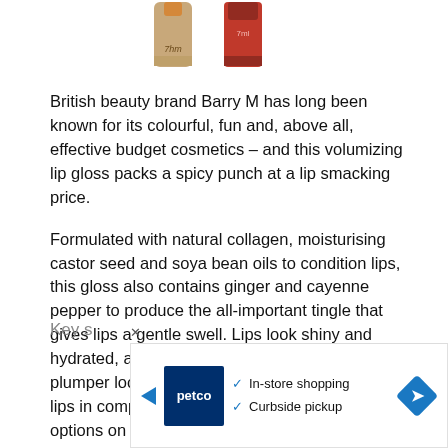[Figure (photo): Two Barry M lip gloss product bottles partially visible at top of page — one orange/tan and one red metallic with 7ml label]
British beauty brand Barry M has long been known for its colourful, fun and, above all, effective budget cosmetics – and this volumizing lip gloss packs a spicy punch at a lip smacking price.
Formulated with natural collagen, moisturising castor seed and soya bean oils to condition lips, this gloss also contains ginger and cayenne pepper to produce the all-important tingle that gives lips a gentle swell. Lips look shiny and hydrated, and the spicy tingle definitely creates a plumper look. The gloss is slightly sticky on the lips in comparison to some of the higher-end options on our list, but this is an excellent budget option.
Key s
[Figure (screenshot): Advertisement banner for Petco showing logo, In-store shopping and Curbside pickup checkmarks, and a blue navigation arrow icon]